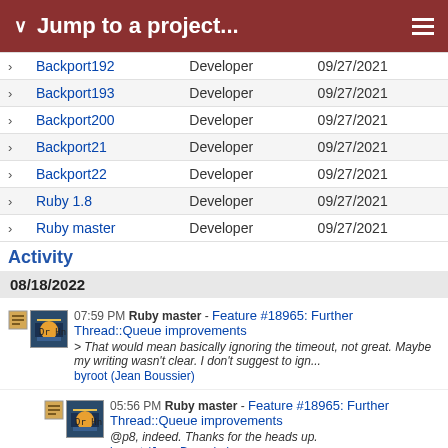Jump to a project...
|  | Project | Role | Date |
| --- | --- | --- | --- |
| > | Backport192 | Developer | 09/27/2021 |
| > | Backport193 | Developer | 09/27/2021 |
| > | Backport200 | Developer | 09/27/2021 |
| > | Backport21 | Developer | 09/27/2021 |
| > | Backport22 | Developer | 09/27/2021 |
| > | Ruby 1.8 | Developer | 09/27/2021 |
| > | Ruby master | Developer | 09/27/2021 |
Activity
08/18/2022
07:59 PM Ruby master - Feature #18965: Further Thread::Queue improvements
> That would mean basically ignoring the timeout, not great. Maybe my writing wasn't clear. I don't suggest to ign...
byroot (Jean Boussier)
05:56 PM Ruby master - Feature #18965: Further Thread::Queue improvements
@p8, indeed. Thanks for the heads up.
byroot (Jean Boussier)